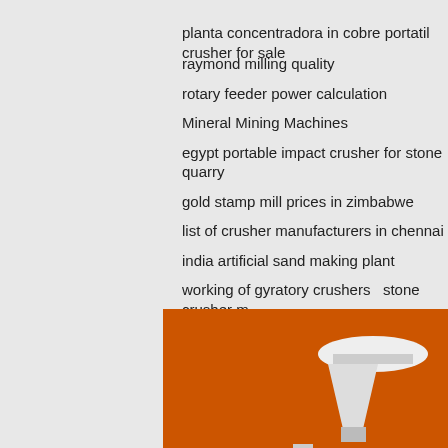planta concentradora in cobre portatil crusher for sale
raymond milling quality
rotary feeder power calculation
Mineral Mining Machines
egypt portable impact crusher for stone quarry
gold stamp mill prices in zimbabwe
list of crusher manufacturers in chennai
india artificial sand making plant
working of gyratory crushers   stone crusher m
particle size grinding mill
complete gold crushing and screening plant
barite crushing machine
goldens new model cane mill no
iron ore crushing and screening works in india
pt adei plantation   glass processing machines
portable gold ore jaw crusher manufacturer in nigeria
[Figure (illustration): Advertisement banner showing mining/crushing machines on orange background with 'Enjoy 3%' and 'Click to' text, a blue circle, Enquiry button, and email limingjlmofen@sina.com]
Enquiry
limingjlmofen@sina.com